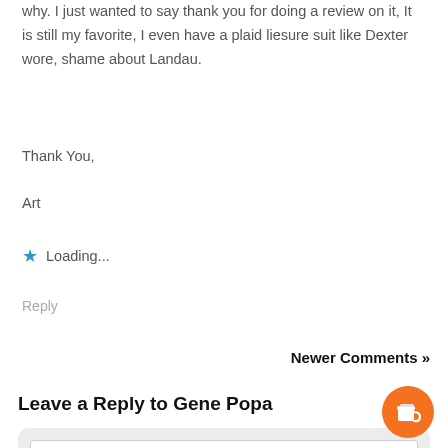why. I just wanted to say thank you for doing a review on it, It is still my favorite, I even have a plaid liesure suit like Dexter wore, shame about Landau.
Thank You,
Art
★ Loading...
Reply
Newer Comments »
Leave a Reply to Gene Popa
Enter your comment here...
Cancel reply